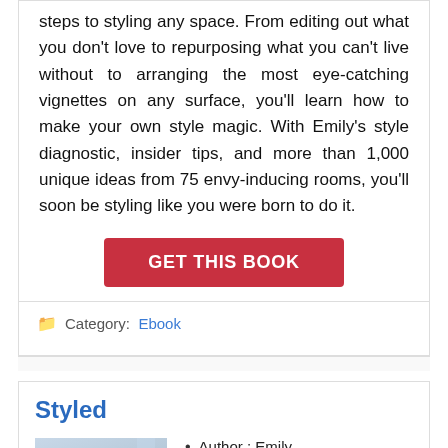steps to styling any space. From editing out what you don't love to repurposing what you can't live without to arranging the most eye-catching vignettes on any surface, you'll learn how to make your own style magic. With Emily's style diagnostic, insider tips, and more than 1,000 unique ideas from 75 envy-inducing rooms, you'll soon be styling like you were born to do it.
GET THIS BOOK
Category: Ebook
Styled
[Figure (photo): Book cover of 'Styled' by Emily Henderson, featuring a gold/yellow banner with the title in white letters, and a shelf/room scene in the background.]
Author : Emily Henderson,Angelin Borsics
Publisher : Potter Style
Release Date : 2015-10-13